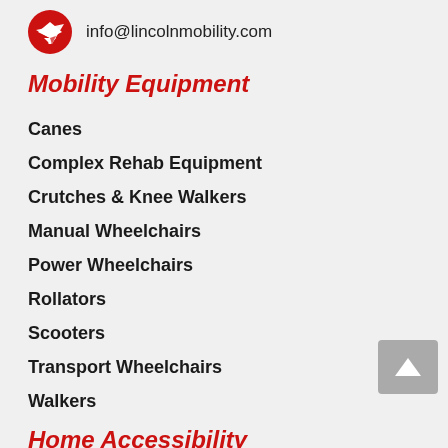info@lincolnmobility.com
Mobility Equipment
Canes
Complex Rehab Equipment
Crutches & Knee Walkers
Manual Wheelchairs
Power Wheelchairs
Rollators
Scooters
Transport Wheelchairs
Walkers
Home Accessibility